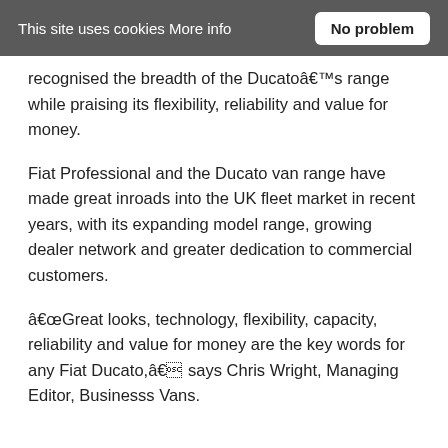This site uses cookies More info  No problem
recognised the breadth of the Ducatoâ€™s range while praising its flexibility, reliability and value for money.
Fiat Professional and the Ducato van range have made great inroads into the UK fleet market in recent years, with its expanding model range, growing dealer network and greater dedication to commercial customers.
â€œGreat looks, technology, flexibility, capacity, reliability and value for money are the key words for any Fiat Ducato,â€ says Chris Wright, Managing Editor, Businesss Vans.